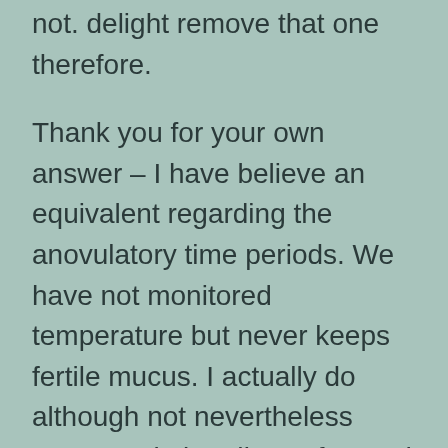not. delight remove that one therefore.
Thank you for your own answer – I have believe an equivalent regarding the anovulatory time periods. We have not monitored temperature but never keeps fertile mucus. I actually do although not nevertheless score ovulation discomfort and my personal mood was much better mid stage however, Perhaps this might you should be large oestrogen?
I can right up my iodine while the You will find just see your own publication plus don't believe I am delivering enough. I also grab myoinositol